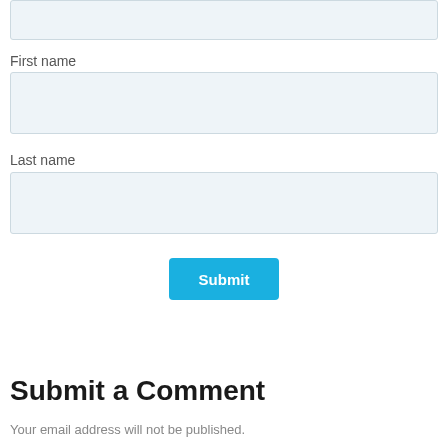First name
Last name
Submit
Submit a Comment
Your email address will not be published.